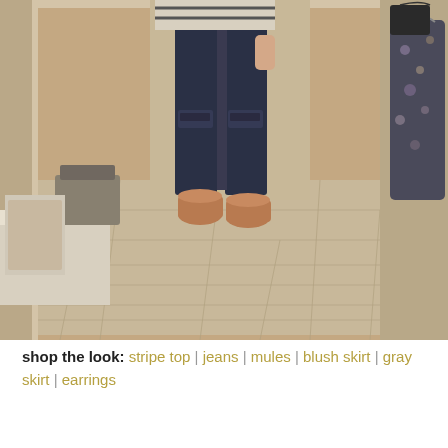[Figure (photo): A person photographed from waist down in a dressing room mirror selfie, wearing dark distressed skinny jeans, a striped top (partially visible), and tan/cognac pointed-toe mule shoes. The dressing room has light wood plank flooring, beige/cream walls, and a floral garment visible on a hook to the right. A bag is visible on a bench to the left.]
shop the look: stripe top | jeans | mules | blush skirt | gray skirt | earrings